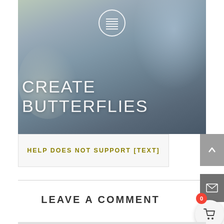[Figure (photo): Hero image with butterfly on flower, muted blue-grey tones, with menu icon overlay and CREATE BUTTERFLIES text overlay]
HELP DOES NOT SUPPORT [TEXT]
LEAVE A COMMENT